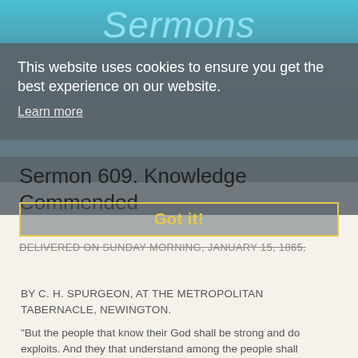Sermons
This website uses cookies to ensure you get the best experience on our website.
Learn more
Sermon 609. Knowledge Commended
Got it!
DELIVERED ON SUNDAY MORNING, JANUARY 15, 1865,
BY C. H. SPURGEON, AT THE METROPOLITAN TABERNACLE, NEWINGTON.
"But the people that know their God shall be strong and do exploits. And they that understand among the people shall instructmany." Daniel 11:32,33.
THE uninspired book of the Maccabees is perhaps the best interpreter of this passage in Daniel. The Prophet, we think, refersto the great persecution under Antiochus, when the followers of Judas Maccabees, knowing their God and keeping close to